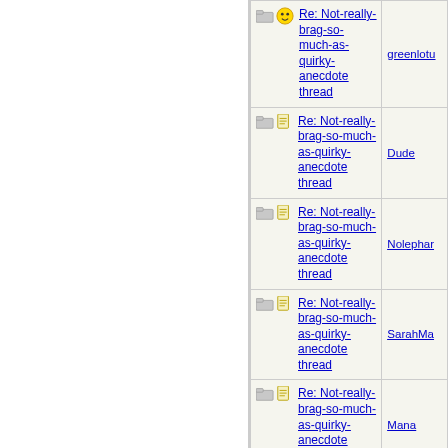| Subject | Author |
| --- | --- |
| Re: Not-really-brag-so-much-as-quirky-anecdote thread | greenlotu |
| Re: Not-really-brag-so-much-as-quirky-anecdote thread | Dude |
| Re: Not-really-brag-so-much-as-quirky-anecdote thread | Nolephar |
| Re: Not-really-brag-so-much-as-quirky-anecdote thread | SarahMa |
| Re: Not-really-brag-so-much-as-quirky-anecdote thread | Mana |
| Re: Not-really-brag-so-much-as-quirky-anecdote thread | LazyMum |
| Re: Not-really-brag-so-much-as-quirky-anecdote thread |  |